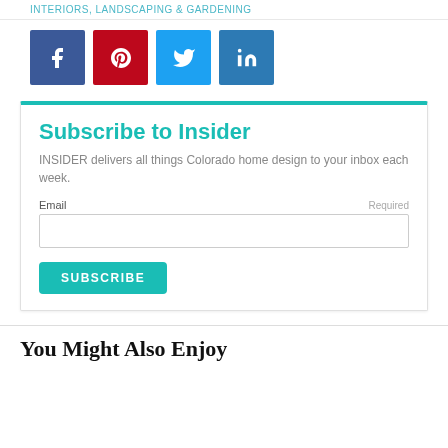INTERIORS, LANDSCAPING & GARDENING
[Figure (infographic): Four social media share buttons: Facebook (blue), Pinterest (red), Twitter (light blue), LinkedIn (dark blue)]
Subscribe to Insider
INSIDER delivers all things Colorado home design to your inbox each week.
Email  Required
SUBSCRIBE
You Might Also Enjoy